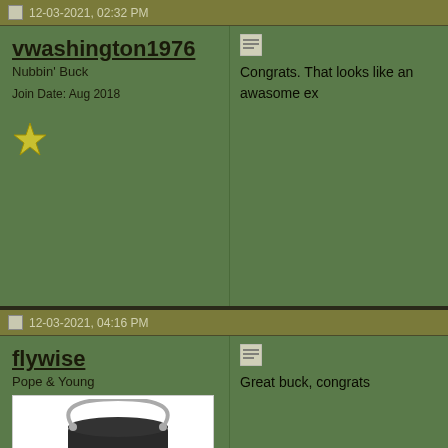12-03-2021, 02:32 PM
vwashington1976
Nubbin' Buck
Join Date: Aug 2018
Congrats. That looks like an awasome ex
12-03-2021, 04:16 PM
flywise
Pope & Young
Join Date: Oct 2006
Location: Tx
Hunt In: Blanco, Nacadoches,NewMexico,Colorado
[Figure (photo): A dark green/black plastic bucket with a metal handle and a yellow tube/stick hanging below it, on white background]
Great buck, congrats